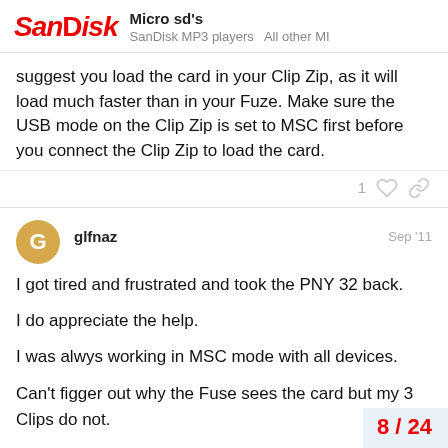SanDisk — Micro sd's — SanDisk MP3 players   All other MI
suggest you load the card in your Clip Zip, as it will load much faster than in your Fuze. Make sure the USB mode on the Clip Zip is set to MSC first before you connect the Clip Zip to load the card.
glfnaz — Sep '11
I got tired and frustrated and took the PNY 32 back.
I do appreciate the help.
I was alwys working in MSC mode with all devices.
Can't figger out why the Fuse sees the card but my 3 Clips do not.
8 / 24